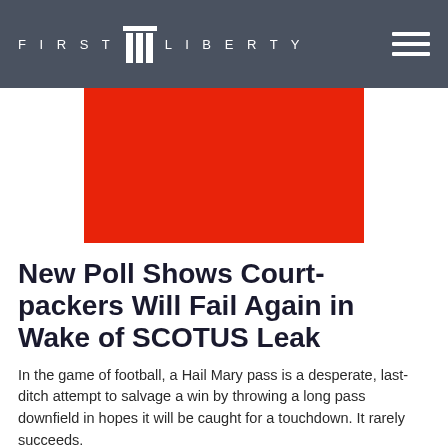FIRST LIBERTY
[Figure (photo): Red rectangular image block (placeholder/featured image) centered below the header navigation bar]
New Poll Shows Court-packers Will Fail Again in Wake of SCOTUS Leak
In the game of football, a Hail Mary pass is a desperate, last-ditch attempt to salvage a win by throwing a long pass downfield in hopes it will be caught for a touchdown. It rarely succeeds. In early May, an unprecedented leak of a Supreme Court draft opinion set off roiling left-wing protests when it indicated the infamous Roe v. Wade ruling on abortion might be reversed.